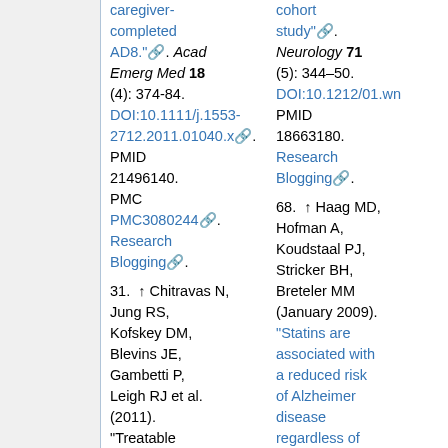caregiver-completed AD8." . Acad Emerg Med 18 (4): 374-84. DOI:10.1111/j.1553-2712.2011.01040.x . PMID 21496140. PMC PMC3080244 . Research Blogging .
31. ↑ Chitravas N, Jung RS, Kofskey DM, Blevins JE, Gambetti P, Leigh RJ et al. (2011). "Treatable neurological disorders misdiagnosed
cohort study" . Neurology 71 (5): 344–50. DOI:10.1212/01.wn PMID 18663180. Research Blogging .
68. ↑ Haag MD, Hofman A, Koudstaal PJ, Stricker BH, Breteler MM (January 2009). "Statins are associated with a reduced risk of Alzheimer disease regardless of lipophilicity. The Rotterdam Study" . J.